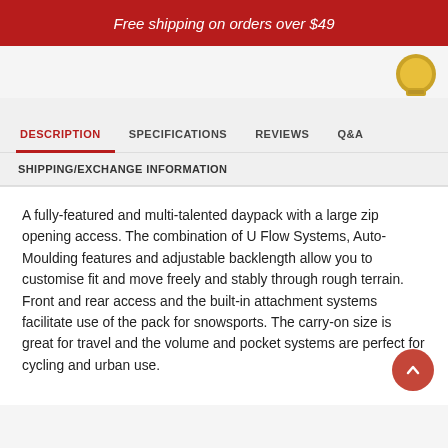Free shipping on orders over $49
DESCRIPTION | SPECIFICATIONS | REVIEWS | Q&A
SHIPPING/EXCHANGE INFORMATION
A fully-featured and multi-talented daypack with a large zip opening access. The combination of U Flow Systems, Auto-Moulding features and adjustable backlength allow you to customise fit and move freely and stably through rough terrain. Front and rear access and the built-in attachment systems facilitate use of the pack for snowsports. The carry-on size is great for travel and the volume and pocket systems are perfect for cycling and urban use.